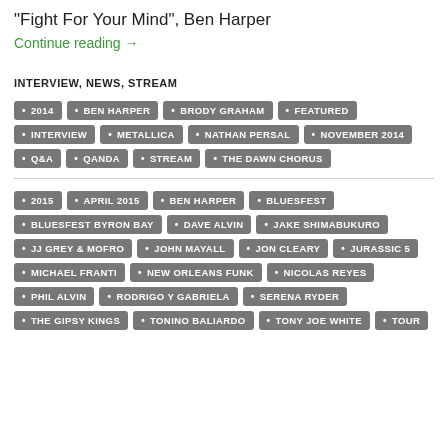"Fight For Your Mind", Ben Harper
Continue reading →
INTERVIEW, NEWS, STREAM
2014 • BEN HARPER • BRODY GRAHAM • FEATURED • INTERVIEW • METALLICA • NATHAN PERSAL • NOVEMBER 2014 • Q&A • QANDA • STREAM • THE DAWN CHORUS
2015 • APRIL 2015 • BEN HARPER • BLUESFEST • BLUESFEST BYRON BAY • DAVE ALVIN • JAKE SHIMABUKURO • JJ GREY & MOFRO • JOHN MAYALL • JON CLEARY • JURASSIC 5 • MICHAEL FRANTI • NEW ORLEANS FUNK • NICOLAS REYES • PHIL ALVIN • RODRIGO Y GABRIELA • SERENA RYDER • THE GIPSY KINGS • TONINO BALIARDO • TONY JOE WHITE • TOUR